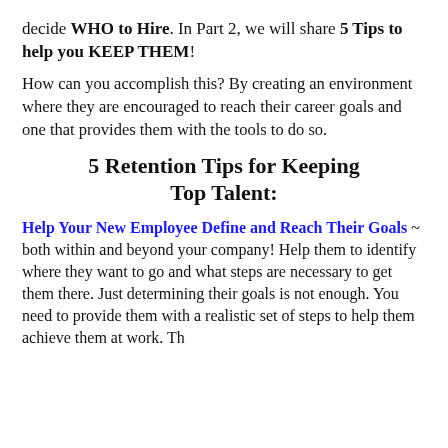decide WHO to Hire. In Part 2, we will share 5 Tips to help you KEEP THEM!
How can you accomplish this? By creating an environment where they are encouraged to reach their career goals and one that provides them with the tools to do so.
5 Retention Tips for Keeping Top Talent:
Help Your New Employee Define and Reach Their Goals ~ both within and beyond your company! Help them to identify where they want to go and what steps are necessary to get them there. Just determining their goals is not enough. You need to provide them with a realistic set of steps to help them achieve them at work. Th...